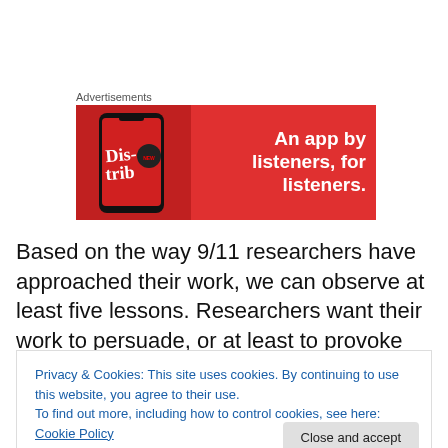Advertisements
[Figure (illustration): Advertisement banner with red background showing a smartphone displaying 'Distrib...' app and text 'An app by listeners, for listeners.']
Based on the way 9/11 researchers have approached their work, we can observe at least five lessons. Researchers want their work to persuade, or at least to provoke second
Privacy & Cookies: This site uses cookies. By continuing to use this website, you agree to their use.
To find out more, including how to control cookies, see here: Cookie Policy
reception. One hopes to build a persuasive body of work